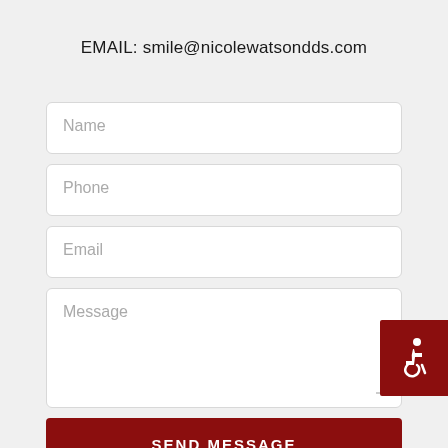EMAIL: smile@nicolewatsondds.com
Name
Phone
Email
Message
SEND MESSAGE